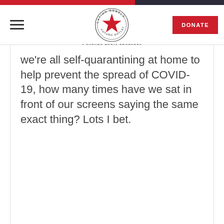Latino Rebels – A Futuro Media Property
we're all self-quarantining at home to help prevent the spread of COVID-19, how many times have we sat in front of our screens saying the same exact thing? Lots I bet.